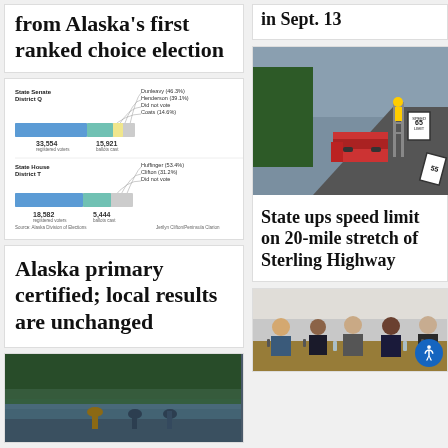from Alaska's first ranked choice election
[Figure (infographic): Bar chart infographic showing State Senate District Q and State House District T ranked choice election results with vote counts: 33,554 registered voters, 15,921 ballots cast for Senate; 18,582 registered voters, 5,444 ballots cast for House.]
Alaska primary certified; local results are unchanged
[Figure (photo): People fishing in a lake or river, viewed from behind]
in Sept. 13
[Figure (photo): Worker on ladder installing a 65 mph speed limit sign on Sterling Highway, with pickup truck on roadside]
State ups speed limit on 20-mile stretch of Sterling Highway
[Figure (photo): Panel of people seated at a table with microphones, apparently at a public meeting or forum]